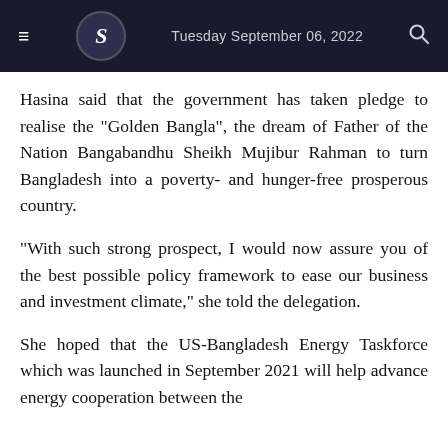Tuesday September 06, 2022
Hasina said that the government has taken pledge to realise the "Golden Bangla", the dream of Father of the Nation Bangabandhu Sheikh Mujibur Rahman to turn Bangladesh into a poverty- and hunger-free prosperous country.
"With such strong prospect, I would now assure you of the best possible policy framework to ease our business and investment climate," she told the delegation.
She hoped that the US-Bangladesh Energy Taskforce which was launched in September 2021 will help advance energy cooperation between the